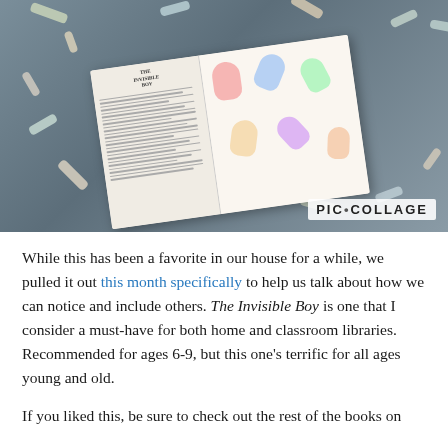[Figure (photo): A photo collage showing an open illustrated children's book (The Invisible Boy) laid on a dark gray surface surrounded by scattered chalk pieces in various colors. The book shows colorful illustrations of children on the right page and text on the left page. A PIC•COLLAGE watermark appears in the bottom right corner of the image.]
While this has been a favorite in our house for a while, we pulled it out this month specifically to help us talk about how we can notice and include others. The Invisible Boy is one that I consider a must-have for both home and classroom libraries. Recommended for ages 6-9, but this one's terrific for all ages young and old.
If you liked this, be sure to check out the rest of the books on